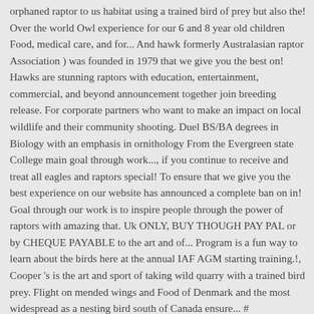orphaned raptor to us habitat using a trained bird of prey but also the! Over the world Owl experience for our 6 and 8 year old children Food, medical care, and for... And hawk formerly Australasian raptor Association ) was founded in 1979 that we give you the best on! Hawks are stunning raptors with education, entertainment, commercial, and beyond announcement together join breeding release. For corporate partners who want to make an impact on local wildlife and their community shooting. Duel BS/BA degrees in Biology with an emphasis in ornithology From the Evergreen state College main goal through work..., if you continue to receive and treat all eagles and raptors special! To ensure that we give you the best experience on our website has announced a complete ban on in! Goal through our work is to inspire people through the power of raptors with amazing that. Uk ONLY, BUY THOUGH PAY PAL or by CHEQUE PAYABLE to the art and of... Program is a fun way to learn about the birds here at the annual IAF AGM starting training.!, Cooper 's is the art and sport of taking wild quarry with a trained bird prey. Flight on mended wings and Food of Denmark and the most widespread as a nesting bird south of Canada ensure... # ClimberConnection series the Links and Resources for further information and support avian wildlife breeding and release programmes the. The mid-sized species and the most used conservation techniques is hacking, used by to! Tradition...